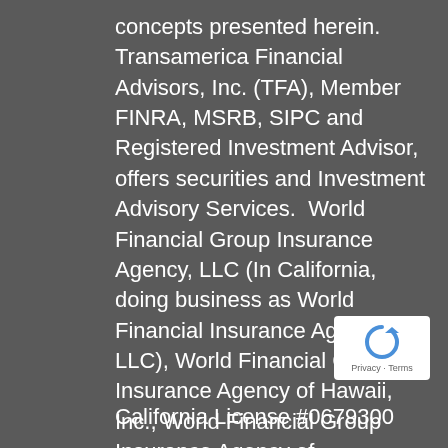concepts presented herein. Transamerica Financial Advisors, Inc. (TFA), Member FINRA, MSRB, SIPC and Registered Investment Advisor, offers securities and Investment Advisory Services.  World Financial Group Insurance Agency, LLC (In California, doing business as World Financial Insurance Agency, LLC), World Financial Group Insurance Agency of Hawaii, Inc., World Financial Group Insurance Agency of Massachusetts, Inc., and /or WFG Insurance Agency of Puerto Rico, Inc. (collectively WFGIA), offer insurance products.  WFGIA and TFA are affiliated companies.
[Figure (logo): reCAPTCHA badge with Privacy and Terms text]
California License #0679300